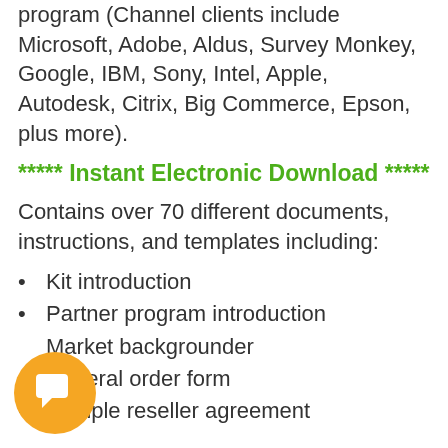program (Channel clients include Microsoft, Adobe, Aldus, Survey Monkey, Google, IBM, Sony, Intel, Apple, Autodesk, Citrix, Big Commerce, Epson, plus more).
***** Instant Electronic Download *****
Contains over 70 different documents, instructions, and templates including:
Kit introduction
Partner program introduction
Market backgrounder
Collateral order form
Sample reseller agreement